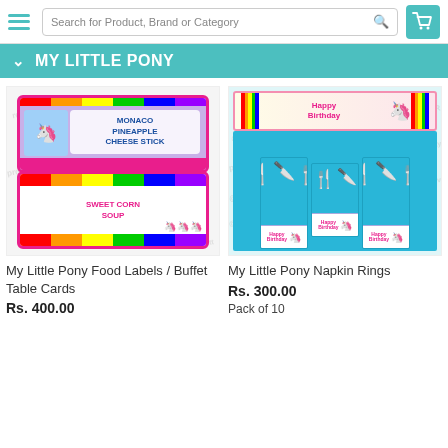Search for Product, Brand or Category
MY LITTLE PONY
[Figure (photo): My Little Pony food label cards showing 'Monaco Pineapple Cheese Stick' and 'Sweet Corn Soup' with rainbow My Little Pony characters and watermark '@prettyURparty']
My Little Pony Food Labels / Buffet Table Cards
Rs. 400.00
[Figure (photo): My Little Pony napkin rings in blue with forks, knives, and Happy Birthday banner with Pinkie Pie pony, watermark '@prettyURparty']
My Little Pony Napkin Rings
Rs. 300.00
Pack of 10